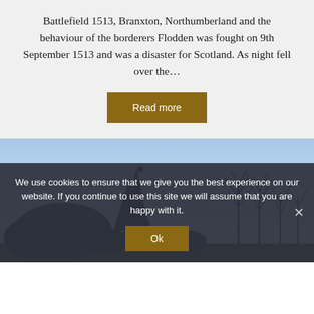Battlefield 1513, Branxton, Northumberland and the behaviour of the borderers Flodden was fought on 9th September 1513 and was a disaster for Scotland. As night fell over the…
[Figure (other): Button labeled 'Read more' with dark gold/olive background and white text]
[Figure (photo): Outdoor landscape photograph showing a light blue sky with silhouettes of trees including a tall conifer/evergreen in the center and bare winter trees on the right]
We use cookies to ensure that we give you the best experience on our website. If you continue to use this site we will assume that you are happy with it.
[Figure (other): Button labeled 'Ok' with dark gold/olive background and white text]